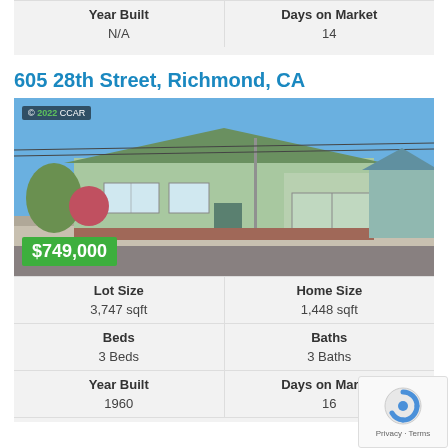| Year Built | Days on Market |
| --- | --- |
| N/A | 14 |
605 28th Street, Richmond, CA
[Figure (photo): Exterior photo of a single-story green house at 605 28th Street, Richmond, CA. Listed at $749,000. Copyright 2022 CCAR watermark in top left corner.]
| Lot Size | Home Size | Beds | Baths | Year Built | Days on Market |
| --- | --- | --- | --- | --- | --- |
| 3,747 sqft | 1,448 sqft | 3 Beds | 3 Baths | 1960 | 16 |